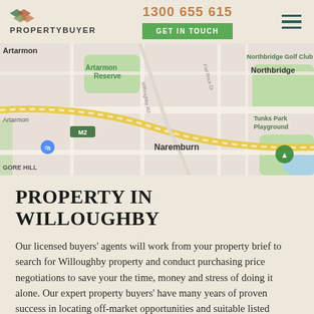PROPERTYBUYER | 1300 655 615 | GET IN TOUCH
[Figure (map): Google Maps screenshot showing Artarmon, Naremburn, Northbridge area in Sydney, with M2 motorway, Artarmon Reserve, Northbridge Golf Club, Tunks Park Playground, Flat Rock Dr, Willoughby Rd visible.]
PROPERTY IN WILLOUGHBY
Our licensed buyers' agents will work from your property brief to search for Willoughby property and conduct purchasing price negotiations to save your the time, money and stress of doing it alone. Our expert property buyers' have many years of proven success in locating off-market opportunities and suitable listed properties, including investment, commercial and prestige properties throughout